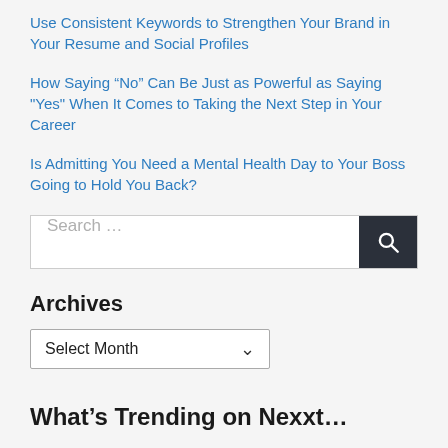Use Consistent Keywords to Strengthen Your Brand in Your Resume and Social Profiles
How Saying “No” Can Be Just as Powerful as Saying "Yes" When It Comes to Taking the Next Step in Your Career
Is Admitting You Need a Mental Health Day to Your Boss Going to Hold You Back?
Search ...
Archives
Select Month
What’s Trending on Nexxt...